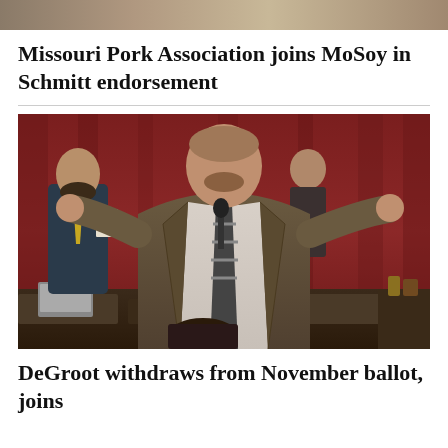[Figure (photo): Top partial photo strip, cropped at top of page]
Missouri Pork Association joins MoSoy in Schmitt endorsement
[Figure (photo): Man in brown suit and striped tie speaking at a podium or floor, arms raised, in a legislative chamber with red curtains. Other people visible in background and foreground.]
DeGroot withdraws from November ballot, joins